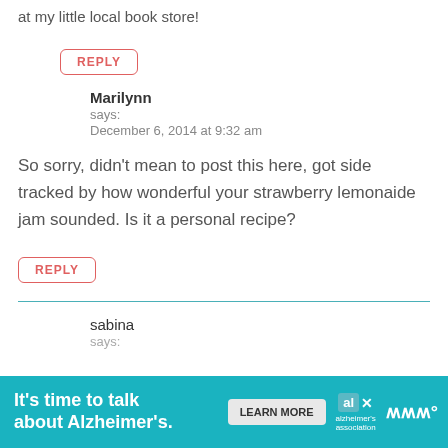at my little local book store!
REPLY
Marilynn
says:
December 6, 2014 at 9:32 am
So sorry, didn't mean to post this here, got side tracked by how wonderful your strawberry lemonaide jam sounded. Is it a personal recipe?
REPLY
sabina
says:
[Figure (infographic): Advertisement banner for Alzheimer's association: 'It's time to talk about Alzheimer's.' with LEARN MORE button and Alzheimer's association logo]